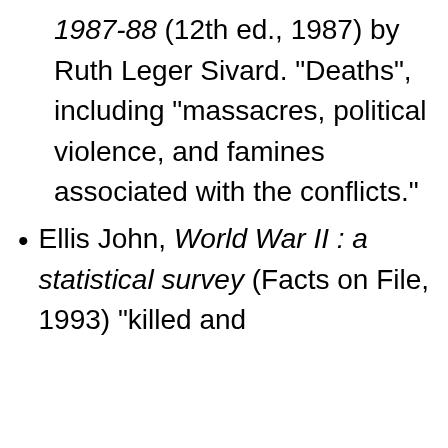1987-88 (12th ed., 1987) by Ruth Leger Sivard. "Deaths", including "massacres, political violence, and famines associated with the conflicts."
Ellis John, World War II : a statistical survey (Facts on File, 1993) "killed and